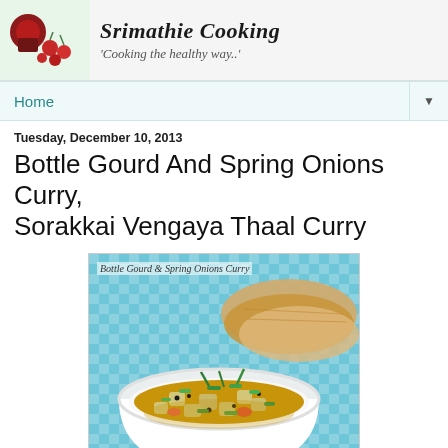[Figure (photo): Blog header banner with food image on left and blog name 'Cooking the healthy way..' in script font on right]
Home ▼
Tuesday, December 10, 2013
Bottle Gourd And Spring Onions Curry, Sorakkai Vengaya Thaal Curry
[Figure (photo): Food photograph of Bottle Gourd & Spring Onions Curry in a white bowl with flatbread/roti in the background on a blue checked cloth. Label text: 'Bottle Gourd & Spring Onions Curry']